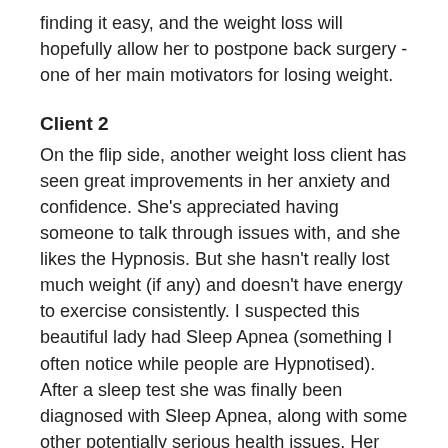finding it easy, and the weight loss will hopefully allow her to postpone back surgery - one of her main motivators for losing weight.
Client 2
On the flip side, another weight loss client has seen great improvements in her anxiety and confidence. She's appreciated having someone to talk through issues with, and she likes the Hypnosis. But she hasn't really lost much weight (if any) and doesn't have energy to exercise consistently. I suspected this beautiful lady had Sleep Apnea (something I often notice while people are Hypnotised). After a sleep test she was finally been diagnosed with Sleep Apnea, along with some other potentially serious health issues. Her sleep will be dramatically improving soon. I expect the weight loss benefits of the Hypnosis to take effect once her health issues have been treated.